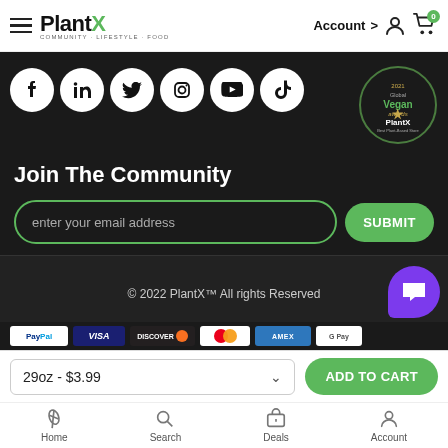PlantX COMMUNITY · LIFESTYLE · FOOD   Account > [user icon] [cart icon with 0]
[Figure (screenshot): Social media icon circles: Facebook, LinkedIn, Twitter, Instagram, YouTube, TikTok on dark background. Global Vegan award badge for PlantX top right.]
Join The Community
enter your email address
SUBMIT
© 2022 PlantX™ All rights Reserved
[Figure (screenshot): Payment method icons: PayPal, Visa, Discover, Mastercard, Amex, Google Pay]
29oz - $3.99
ADD TO CART
Home
Search
Deals
Account